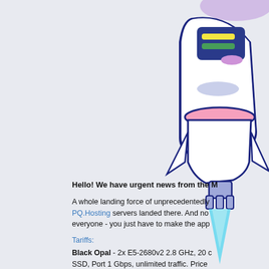[Figure (illustration): Cartoon rocket ship illustration with colorful body (white, purple, blue), green and yellow accents on the control panel, pink ring/disc, and a light blue flame exhaust at the bottom. The rocket is positioned in the upper-right area of the page.]
Hello! We have urgent news from the M
A whole landing force of unprecedentedly PQ.Hosting servers landed there. And no everyone - you just have to make the app
Tariffs:
Black Opal - 2x E5-2680v2 2.8 GHz, 20 c SSD, Port 1 Gbps, unlimited traffic. Price
Red Boral - 2x E5-2680v2 2.8 GHz, 20